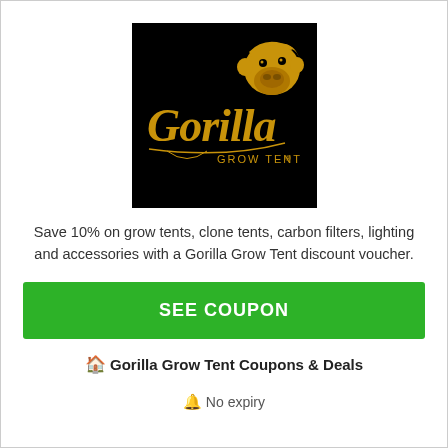[Figure (logo): Gorilla Grow Tent logo — black background with gold stylized gothic text 'Gorilla' and a gorilla illustration, with 'GROW TENT' in smaller text below]
Save 10% on grow tents, clone tents, carbon filters, lighting and accessories with a Gorilla Grow Tent discount voucher.
SEE COUPON
🏠 Gorilla Grow Tent Coupons & Deals
🔔 No expiry